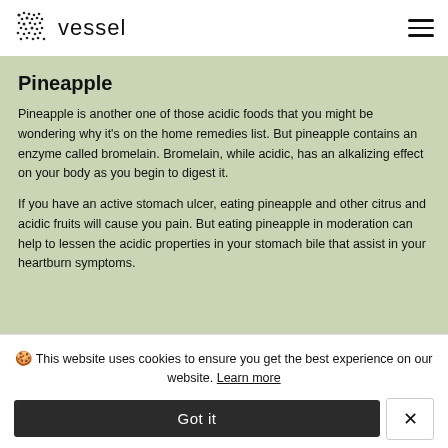vessel
Pineapple
Pineapple is another one of those acidic foods that you might be wondering why it's on the home remedies list. But pineapple contains an enzyme called bromelain. Bromelain, while acidic, has an alkalizing effect on your body as you begin to digest it.
If you have an active stomach ulcer, eating pineapple and other citrus and acidic fruits will cause you pain. But eating pineapple in moderation can help to lessen the acidic properties in your stomach bile that assist in your heartburn symptoms.
🍪 This website uses cookies to ensure you get the best experience on our website. Learn more
Got it